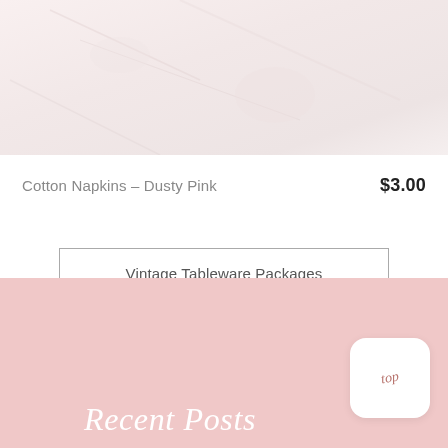[Figure (photo): Partial top of a light pink/white textured fabric or marble surface image, cropped at the top of the page]
Cotton Napkins – Dusty Pink   $3.00
Vintage Tableware Packages
Recent Posts